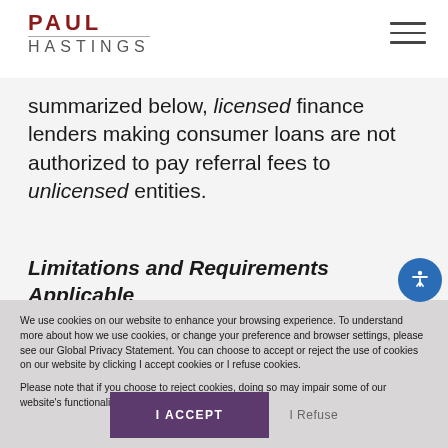PAUL HASTINGS
summarized below, licensed finance lenders making consumer loans are not authorized to pay referral fees to unlicensed entities.
Limitations and Requirements Applicable
We use cookies on our website to enhance your browsing experience. To understand more about how we use cookies, or change your preference and browser settings, please see our Global Privacy Statement. You can choose to accept or reject the use of cookies on our website by clicking I accept cookies or I refuse cookies.

Please note that if you choose to reject cookies, doing so may impair some of our website's functionality.